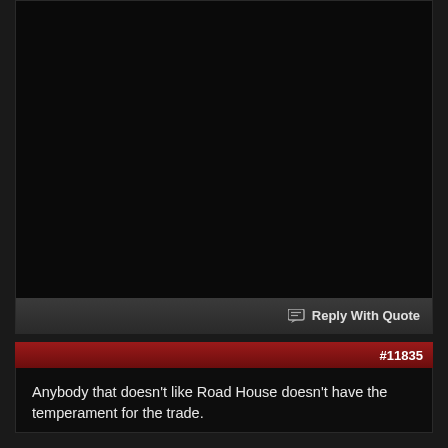[Figure (screenshot): Top section of a forum post showing a dark/black content area (possibly an embedded video or image placeholder)]
Reply With Quote
#11835
Anybody that doesn't like Road House doesn't have the temperament for the trade.